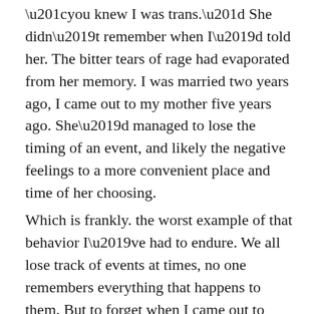“you knew I was trans.” She didn’t remember when I’d told her. The bitter tears of rage had evaporated from her memory. I was married two years ago, I came out to my mother five years ago. She’d managed to lose the timing of an event, and likely the negative feelings to a more convenient place and time of her choosing.
Which is frankly. the worst example of that behavior I’ve had to endure. We all lose track of events at times, no one remembers everything that happens to them. But to forget when I came out to you, especially considering how poorly she took it, and how much that still hurts me today, was another